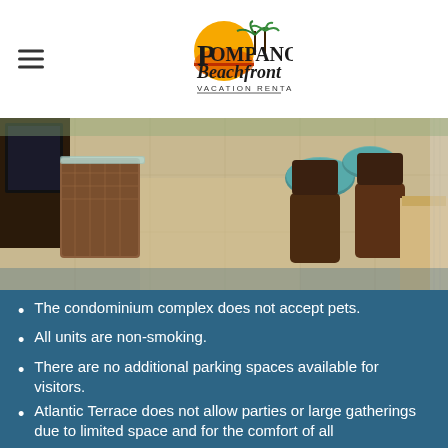Pompano Beachfront Vacation Rentals
[Figure (photo): Interior photo of a condominium living/dining area with wicker furniture, glass table tops, teal accent chairs, and light marble/tile flooring]
The condominium complex does not accept pets.
All units are non-smoking.
There are no additional parking spaces available for visitors.
Atlantic Terrace does not allow parties or large gatherings due to limited space and for the comfort of all